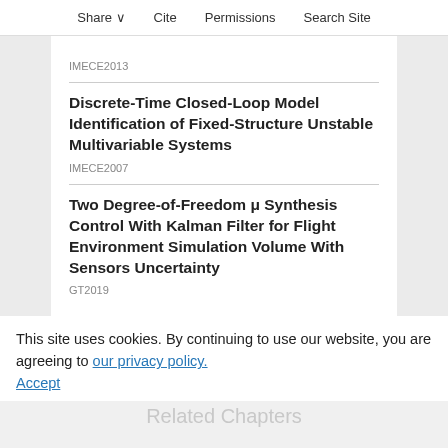Share   Cite   Permissions   Search Site
IMECE2013
Discrete-Time Closed-Loop Model Identification of Fixed-Structure Unstable Multivariable Systems
IMECE2007
Two Degree-of-Freedom μ Synthesis Control With Kalman Filter for Flight Environment Simulation Volume With Sensors Uncertainty
GT2019
This site uses cookies. By continuing to use our website, you are agreeing to our privacy policy. Accept
Related Chapters